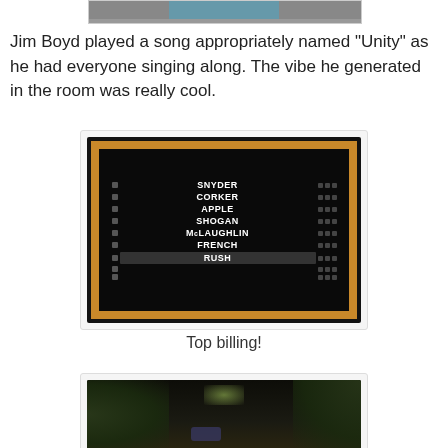[Figure (photo): Top portion of a photo visible at the top of the page (cropped)]
Jim Boyd played a song appropriately named "Unity" as he had everyone singing along. The vibe he generated in the room was really cool.
[Figure (photo): Photo of a black letter board with wooden frame listing names: SNYDER, CORKER, APPLE, SHOGAN, McLAUGHLIN, FRENCH, RUSH]
Top billing!
[Figure (photo): Photo of what appears to be a stage setup with foliage decorations and drums/instruments, dimly lit]